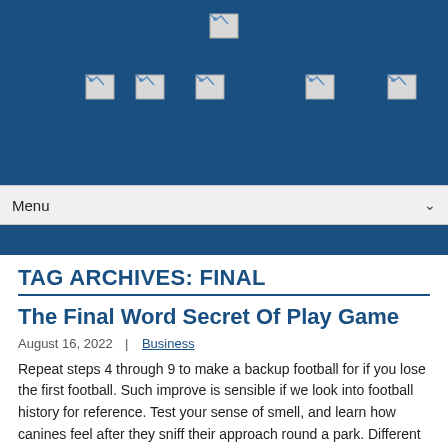[Figure (other): Website header with dark blue background containing broken image icons arranged in two rows — one centered logo at top, five navigation icons in a row below]
Menu ∨
TAG ARCHIVES: FINAL
The Final Word Secret Of Play Game
August 16, 2022  |  Business
Repeat steps 4 through 9 to make a backup football for if you lose the first football. Such improve is sensible if we look into football history for reference. Test your sense of smell, and learn how canines feel after they sniff their approach round a park. Different objects alongside the way in which. Maybe now that you set it that approach. It would take many years before we see a noticeable difference in the best way we think of each other. Go to the following page to be taught how you can take your imagination on a wild ride with Drive-By Fiction. A2C and Gap appear to be more cautious, they do not take as much risk as PopArt. The more